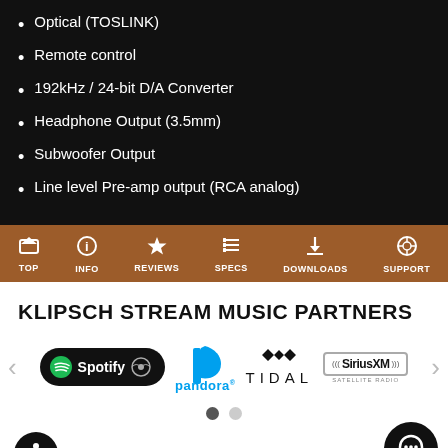Optical (TOSLINK)
Remote control
192kHz / 24-bit D/A Converter
Headphone Output (3.5mm)
Subwoofer Output
Line level Pre-amp output (RCA analog)
KLIPSCH STREAM MUSIC PARTNERS
[Figure (logo): Music streaming partner logos: Spotify, Pandora, TIDAL, SiriusXM satellite radio]